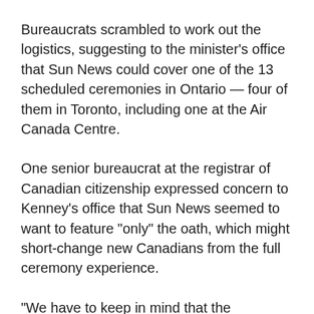Bureaucrats scrambled to work out the logistics, suggesting to the minister's office that Sun News could cover one of the 13 scheduled ceremonies in Ontario — four of them in Toronto, including one at the Air Canada Centre.
One senior bureaucrat at the registrar of Canadian citizenship expressed concern to Kenney's office that Sun News seemed to want to feature "only" the oath, which might short-change new Canadians from the full ceremony experience.
"We have to keep in mind that the ceremony should first and foremost be a special (sic) for the new citizen, most of whom will want family and friends (sic) attend this very special day in their lives," the bureaucrat